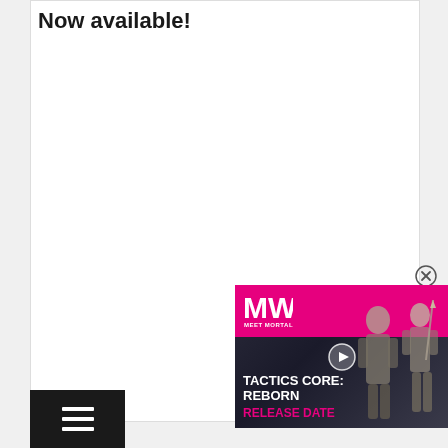Now available!
[Figure (screenshot): Advertisement overlay for 'Tactics Core: Reborn' game by MW (Meet Your Maker / MeetWorld), showing pink/magenta branded header with MW logo, game characters in dark background, play button, text 'TACTICS CORE: REBORN RELEASE DATE' with release date in pink, and a close (X) button in the top-right corner of the ad.]
[Figure (other): Black hamburger menu button (three horizontal white lines) at bottom left of page.]